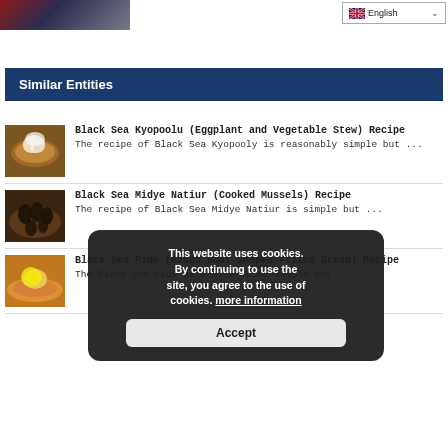[Figure (photo): Partial view of a food photo at top left, dark tones with red elements]
[Figure (screenshot): Language selector dropdown showing English with UK flag]
Similar Entities
[Figure (photo): Black Sea Kyopoolu (Eggplant and Vegetable Stew) - brown stew in bowl with white spoon]
Black Sea Kyopoolu (Eggplant and Vegetable Stew) Recipe
The recipe of Black Sea Kyopooly is reasonably simple but ...
[Figure (photo): Black Sea Midye Natiur (Cooked Mussels) - dark mussels in bowl]
Black Sea Midye Natiur (Cooked Mussels) Recipe
The recipe of Black Sea Midye Natiur is simple but ...
[Figure (photo): Black Sea Pide - boat-shaped flatbread with egg on top]
Black Sea Pide (Baked Boat-Shaped Filled Bread) Recipe
The Black Sea Pide as a dish looks simple but ...
This website uses cookies.
By continuing to use the site, you agree to the use of cookies. more information
Accept